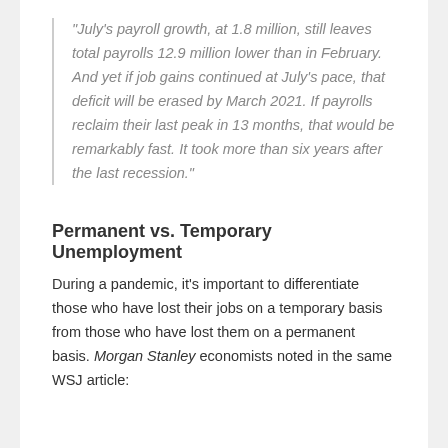“July’s payroll growth, at 1.8 million, still leaves total payrolls 12.9 million lower than in February. And yet if job gains continued at July’s pace, that deficit will be erased by March 2021. If payrolls reclaim their last peak in 13 months, that would be remarkably fast. It took more than six years after the last recession.”
Permanent vs. Temporary Unemployment
During a pandemic, it’s important to differentiate those who have lost their jobs on a temporary basis from those who have lost them on a permanent basis. Morgan Stanley economists noted in the same WSJ article: